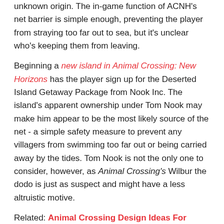unknown origin. The in-game function of ACNH's net barrier is simple enough, preventing the player from straying too far out to sea, but it's unclear who's keeping them from leaving.
Beginning a new island in Animal Crossing: New Horizons has the player sign up for the Deserted Island Getaway Package from Nook Inc. The island's apparent ownership under Tom Nook may make him appear to be the most likely source of the net - a simple safety measure to prevent any villagers from swimming too far out or being carried away by the tides. Tom Nook is not the only one to consider, however, as Animal Crossing's Wilbur the dodo is just as suspect and might have a less altruistic motive.
Related: Animal Crossing Design Ideas For Players On A Bell Budget
Dodo Airlines provides flights to and from the player's island in New Horizons. Perhaps the netting was placed to prevent ships from approaching the island, ensuring Dodo Airlines has a complete monopoly on travel. It is unclear whether the netting would actually stop a boat, however. Both the sailor gull Gulliver and the pirate gull Gullivarrr routinely wake up on the shore of the island, claiming they fell off of their respective ships. After the